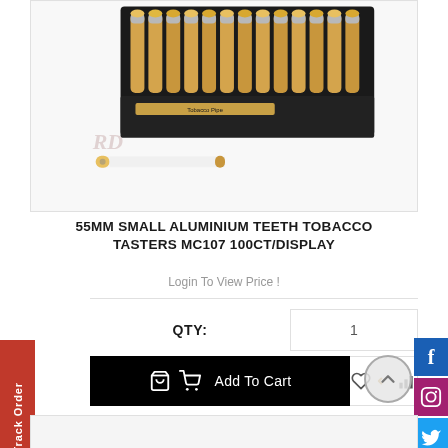[Figure (photo): Product photo showing a black display box containing many small aluminium cigarette-shaped tobacco taster pipes (55mm), with one pipe laid in front of the box on a white background. A watermark logo 'RD' is visible.]
55MM SMALL ALUMINIUM TEETH TOBACCO TASTERS MC107 100CT/DISPLAY
Login To View Price !
QTY: 1
Add To Cart